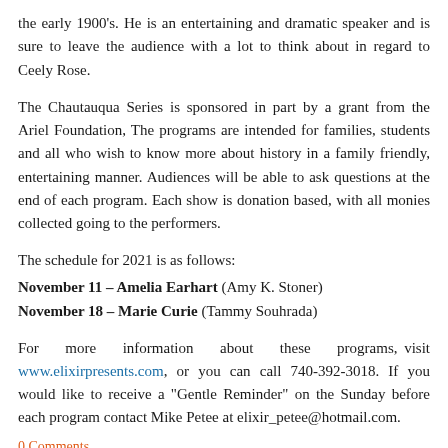the early 1900's. He is an entertaining and dramatic speaker and is sure to leave the audience with a lot to think about in regard to Ceely Rose.
The Chautauqua Series is sponsored in part by a grant from the Ariel Foundation, The programs are intended for families, students and all who wish to know more about history in a family friendly, entertaining manner. Audiences will be able to ask questions at the end of each program. Each show is donation based, with all monies collected going to the performers.
The schedule for 2021 is as follows:
November 11 – Amelia Earhart (Amy K. Stoner)
November 18 – Marie Curie (Tammy Souhrada)
For more information about these programs, visit www.elixirpresents.com, or you can call 740-392-3018. If you would like to receive a "Gentle Reminder" on the Sunday before each program contact Mike Petee at elixir_petee@hotmail.com.
0 Comments